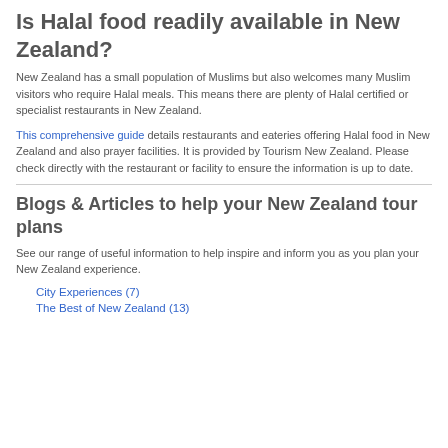Is Halal food readily available in New Zealand?
New Zealand has a small population of Muslims but also welcomes many Muslim visitors who require Halal meals. This means there are plenty of Halal certified or specialist restaurants in New Zealand.
This comprehensive guide details restaurants and eateries offering Halal food in New Zealand and also prayer facilities. It is provided by Tourism New Zealand. Please check directly with the restaurant or facility to ensure the information is up to date.
Blogs & Articles to help your New Zealand tour plans
See our range of useful information to help inspire and inform you as you plan your New Zealand experience.
City Experiences (7)
The Best of New Zealand (13)